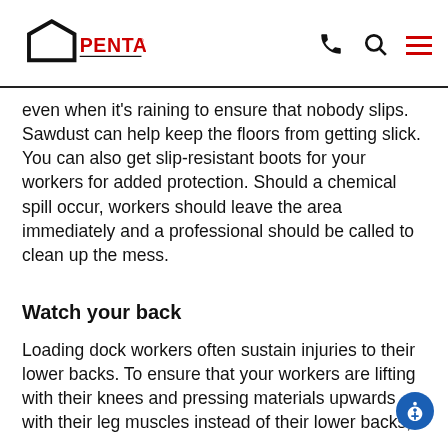PENTALIFT
even when it's raining to ensure that nobody slips. Sawdust can help keep the floors from getting slick. You can also get slip-resistant boots for your workers for added protection. Should a chemical spill occur, workers should leave the area immediately and a professional should be called to clean up the mess.
Watch your back
Loading dock workers often sustain injuries to their lower backs. To ensure that your workers are lifting with their knees and pressing materials upwards with their leg muscles instead of their lower backs,